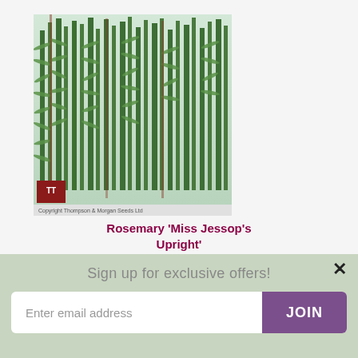[Figure (photo): Close-up photo of Rosemary 'Miss Jessop's Upright' plant with dense upright green needle-like foliage against a light background. A small logo box is visible in the bottom-left corner of the image, along with a copyright notice bar.]
Rosemary 'Miss Jessop's Upright'
★★★★★ 7 Reviews
Sign up for exclusive offers!
Enter email address
JOIN